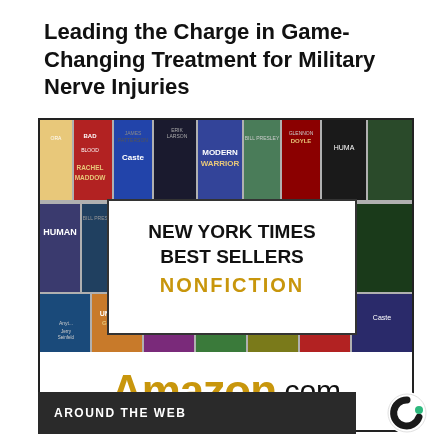Leading the Charge in Game-Changing Treatment for Military Nerve Injuries
[Figure (photo): Amazon.com advertisement featuring New York Times Best Sellers Nonfiction book covers collage with overlay text box and Amazon.com logo at bottom]
AROUND THE WEB